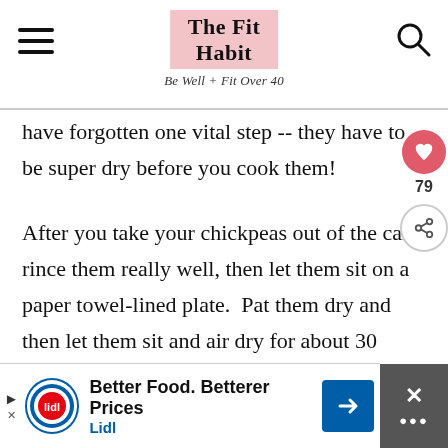The Fit Habit — Be Well + Fit Over 40
have forgotten one vital step -- they have to be super dry before you cook them!
After you take your chickpeas out of the can, rince them really well, then let them sit on a paper towel-lined plate.  Pat them dry and then let them sit and air dry for about 30 minutes or so.  You don't have to wait that long, but the drier they are before you cook them, the crispier they will be.
Better Food. Betterer Prices
Lidl